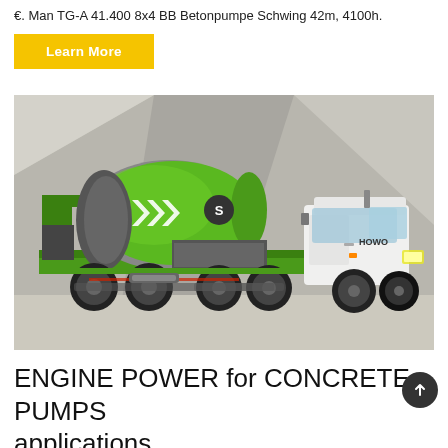€. Man TG-A 41.400 8x4 BB Betonpumpe Schwing 42m, 4100h.
Learn More
[Figure (photo): A HOWO concrete mixer truck with a green rotating drum bearing white chevron arrows logo, parked against a concrete wall background.]
ENGINE POWER for CONCRETE PUMPS applications